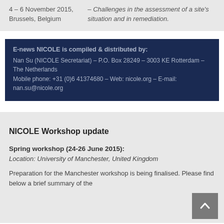4 – 6 November 2015, Brussels, Belgium
– Challenges in the assessment of a site's situation and in remediation.
E-news NICOLE is compiled & distributed by:
Nan Su (NICOLE Secretariat) – P.O. Box 28249 – 3003 KE Rotterdam – The Netherlands
Mobile phone: +31 (0)6 41374680 – Web: nicole.org – E-mail: nan.su@nicole.org
NICOLE Workshop update
Spring workshop (24-26 June 2015):
Location: University of Manchester, United Kingdom
Preparation for the Manchester workshop is being finalised. Please find below a brief summary of the